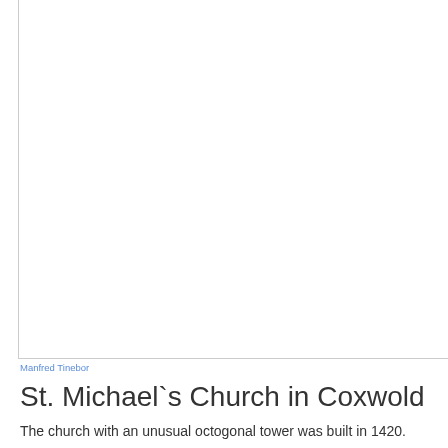[Figure (photo): Photograph of St. Michael's Church in Coxwold, shown as a large white/blank image area with a left and bottom border]
Manfred Tinebor
St. Michael`s Church in Coxwold
The church with an unusual octogonal tower was built in 1420.